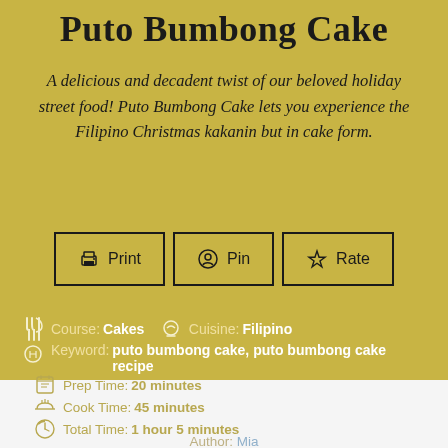Puto Bumbong Cake
A delicious and decadent twist of our beloved holiday street food! Puto Bumbong Cake lets you experience the Filipino Christmas kakanin but in cake form.
[Figure (other): Three buttons: Print, Pin, Rate]
Course: Cakes   Cuisine: Filipino
Keyword: puto bumbong cake, puto bumbong cake recipe
Prep Time: 20 minutes
Cook Time: 45 minutes
Total Time: 1 hour 5 minutes
Servings: 1 cake   Calories:
Author: Mia